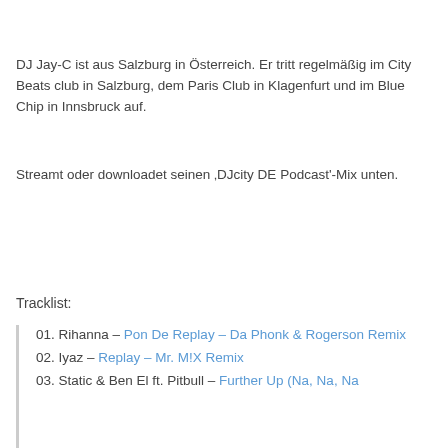DJ Jay-C ist aus Salzburg in Österreich. Er tritt regelmäßig im City Beats club in Salzburg, dem Paris Club in Klagenfurt und im Blue Chip in Innsbruck auf.
Streamt oder downloadet seinen ‚DJcity DE Podcast'-Mix unten.
Tracklist:
01. Rihanna – Pon De Replay – Da Phonk & Rogerson Remix
02. Iyaz – Replay – Mr. M!X Remix
03. Static & Ben El ft. Pitbull – Further Up (Na, Na, Na...